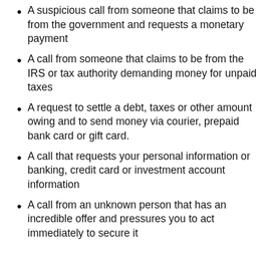A suspicious call from someone that claims to be from the government and requests a monetary payment
A call from someone that claims to be from the IRS or tax authority demanding money for unpaid taxes
A request to settle a debt, taxes or other amount owing and to send money via courier, prepaid bank card or gift card.
A call that requests your personal information or banking, credit card or investment account information
A call from an unknown person that has an incredible offer and pressures you to act immediately to secure it